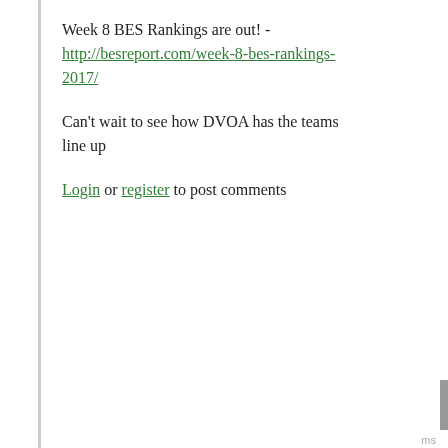Week 8 BES Rankings are out! - http://besreport.com/week-8-bes-rankings-2017/
Can't wait to see how DVOA has the teams line up
Login or register to post comments
15  Re: Week 7 DVOA Ratings
by t.d. // Oct 24, 2017 - 8:26pm
These video ads that pull the screen to them are awful
Login or register to post comments